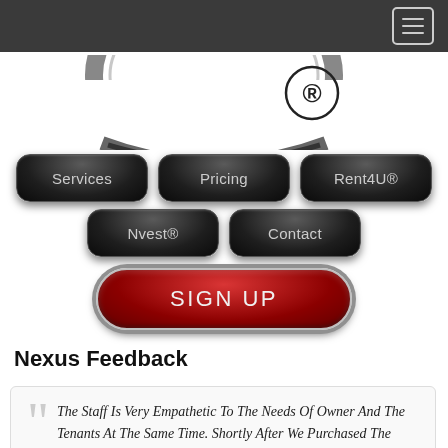[Navigation bar with hamburger menu]
[Figure (logo): Nexus logo — circular chrome emblem with registered trademark symbol]
[Figure (screenshot): Navigation buttons: Services, Pricing, Rent4U®, Nvest®, Contact]
[Figure (screenshot): Red glossy SIGN UP button with chrome border]
Nexus Feedback
The Staff Is Very Empathetic To The Needs Of Owner And The Tenants At The Same Time. Shortly After We Purchased The House, It Was Rented Due